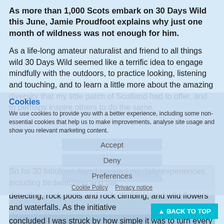As more than 1,000 Scots embark on 30 Days Wild this June, Jamie Proudfoot explains why just one month of wildness was not enough for him.
As a life-long amateur naturalist and friend to all things wild 30 Days Wild seemed like a terrific idea to engage mindfully with the outdoors, to practice looking, listening and touching, and to learn a little more about the amazing diversity that my little patch of Scotland had to offer, and to perhaps inspire others to do the same.
So for 30 fabulous days I tweeted my daily experiences, including birdwatching and bat detecting, rock pools and rock climbing, and wild flowers and waterfalls. As the initiative concluded I was struck by how simple it was to turn every single day into a wild one. I felt sparks of child-like curiosity and wonderment that were truly energising, and I didn't want
Cookies
We use cookies to provide you with a better experience, including some non-essential cookies that help us to make improvements, analyse site usage and show you relevant marketing content.
Accept
Deny
Preferences
Cookie Policy  Privacy notice
▲ BACK TO TOP